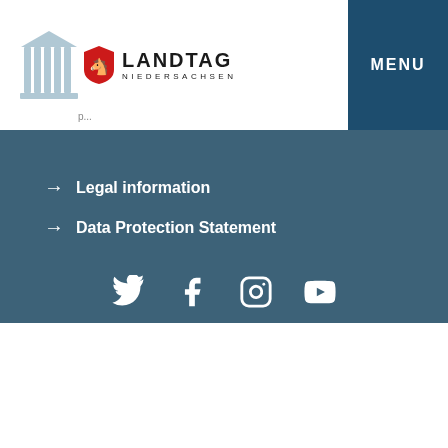LANDTAG NIEDERSACHSEN — MENU
→ Legal information
→ Data Protection Statement
[Figure (infographic): Social media icons: Twitter, Facebook, Instagram, YouTube]